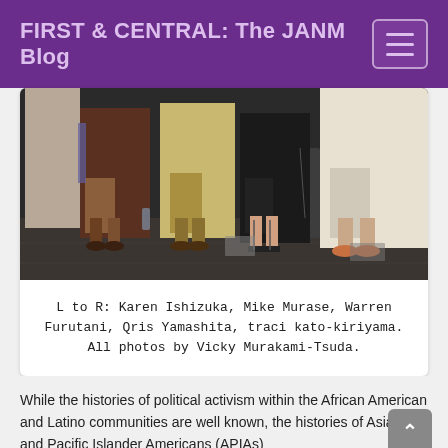FIRST & CENTRAL: The JANM Blog
[Figure (photo): Panel discussion photo showing people seated in chairs on a stage, cropped to show bodies from waist down. Multiple panelists visible.]
L to R: Karen Ishizuka, Mike Murase, Warren Furutani, Qris Yamashita, traci kato-kiriyama. All photos by Vicky Murakami-Tsuda.
While the histories of political activism within the African American and Latino communities are well known, the histories of Asian and Pacific Islander Americans (APIAs)